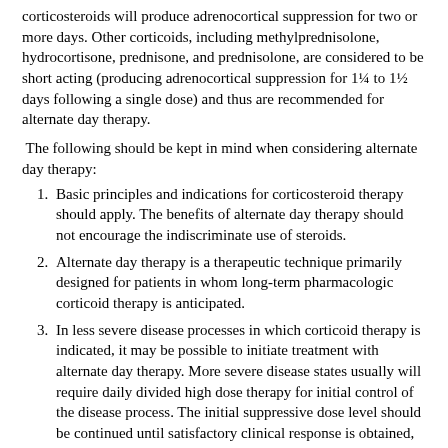corticosteroids will produce adrenocortical suppression for two or more days. Other corticoids, including methylprednisolone, hydrocortisone, prednisone, and prednisolone, are considered to be short acting (producing adrenocortical suppression for 1¼ to 1½ days following a single dose) and thus are recommended for alternate day therapy.
The following should be kept in mind when considering alternate day therapy:
Basic principles and indications for corticosteroid therapy should apply. The benefits of alternate day therapy should not encourage the indiscriminate use of steroids.
Alternate day therapy is a therapeutic technique primarily designed for patients in whom long-term pharmacologic corticoid therapy is anticipated.
In less severe disease processes in which corticoid therapy is indicated, it may be possible to initiate treatment with alternate day therapy. More severe disease states usually will require daily divided high dose therapy for initial control of the disease process. The initial suppressive dose level should be continued until satisfactory clinical response is obtained, usually four to ten days in the case of many allergic and collagen diseases. It is important to keep the period of initial suppressive dose as brief as possible particularly when subsequent use of alternate day therapy is intended. Once control has been established, two courses are available: (a)